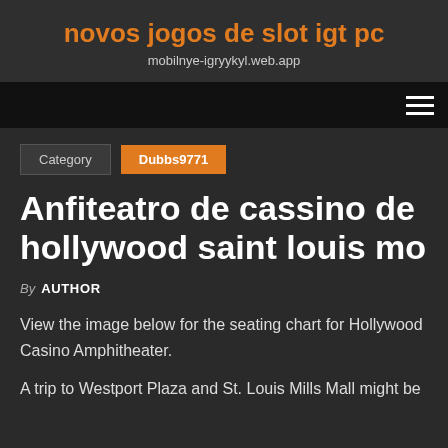novos jogos de slot igt pc
mobilnye-igryykyl.web.app
Category   Dubbs9771
Anfiteatro de cassino de hollywood saint louis mo
By AUTHOR
View the image below for the seating chart for Hollywood Casino Amphitheater.
A trip to Westport Plaza and St. Louis Mills Mall might be